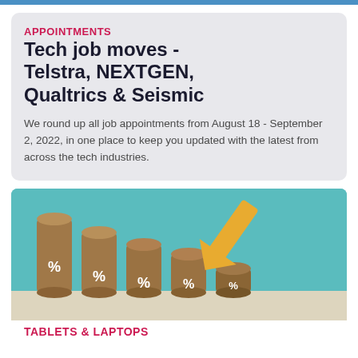APPOINTMENTS
Tech job moves - Telstra, NEXTGEN, Qualtrics & Seismic
We round up all job appointments from August 18 - September 2, 2022, in one place to keep you updated with the latest from across the tech industries.
[Figure (photo): Wooden cylinder blocks with percentage symbols arranged in descending height order, with a large golden/yellow arrow pointing down and to the right, against a teal background. Represents declining rates or prices.]
TABLETS & LAPTOPS